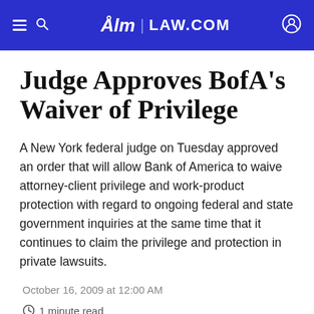ALM | LAW.COM
Judge Approves BofA's Waiver of Privilege
A New York federal judge on Tuesday approved an order that will allow Bank of America to waive attorney-client privilege and work-product protection with regard to ongoing federal and state government inquiries at the same time that it continues to claim the privilege and protection in private lawsuits.
October 16, 2009 at 12:00 AM
1 minute read